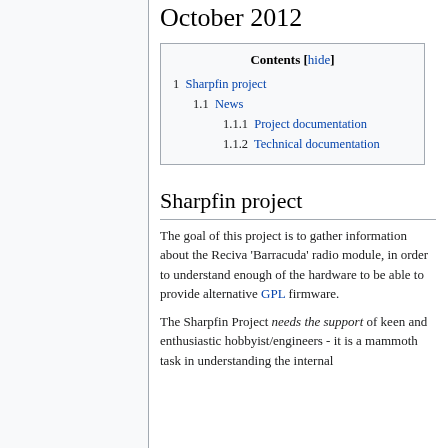October 2012
| Contents [hide] |
| --- |
| 1 Sharpfin project |
| 1.1 News |
| 1.1.1 Project documentation |
| 1.1.2 Technical documentation |
Sharpfin project
The goal of this project is to gather information about the Reciva 'Barracuda' radio module, in order to understand enough of the hardware to be able to provide alternative GPL firmware.
The Sharpfin Project needs the support of keen and enthusiastic hobbyist/engineers - it is a mammoth task in understanding the internal